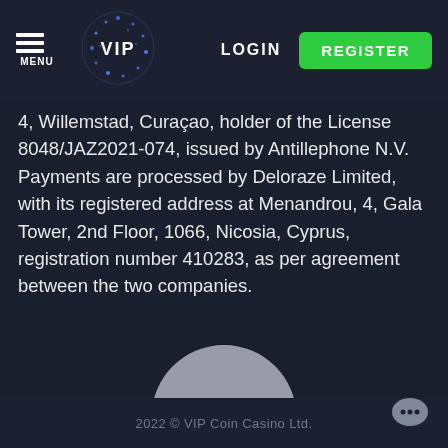MENU  VIP  LOGIN  REGISTER
4, Willemstad, Curaçao, holder of the License 8048/JAZ2021-074, issued by Antillephone N.V. Payments are processed by Deloraze Limited, with its registered address at Menandrou, 4, Gala Tower, 2nd Floor, 1066, Nicosia, Cyprus, registration number 410283, as per agreement between the two companies.
[Figure (illustration): Gray circle, likely a logo or avatar placeholder]
2022 © VIP Coin Casino Ltd.